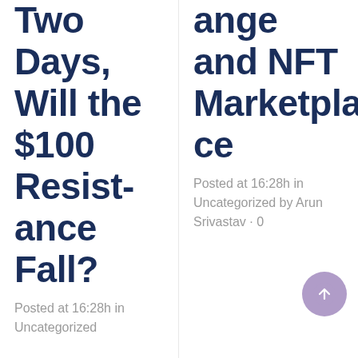Two Days, Will the $100 Resistance Fall?
Posted at 16:28h in Uncategorized
ange and NFT Marketplace
Posted at 16:28h in Uncategorized by Arun Srivastav · 0